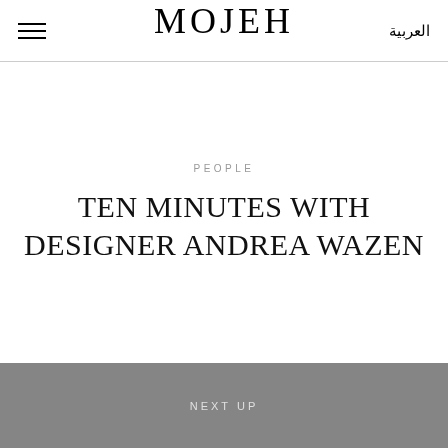MOJEH | العربية
PEOPLE
TEN MINUTES WITH DESIGNER ANDREA WAZEN
NEXT UP